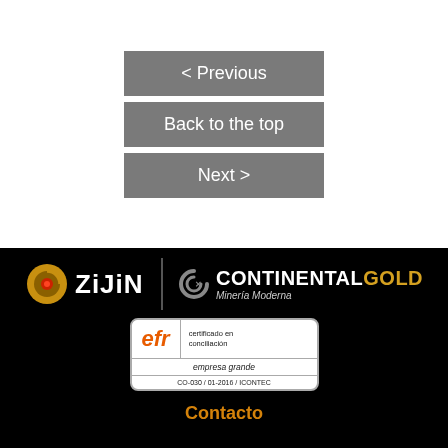< Previous
Back to the top
Next >
[Figure (logo): Zijin and Continental Gold logos on black background with EFR certification badge]
Contacto